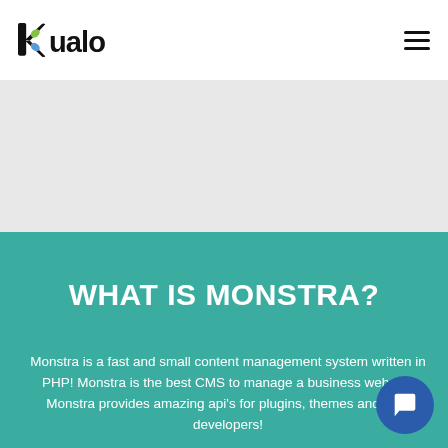[Figure (logo): Kualo logo — stylized black text 'kualo' with a colorful K icon (blue and green)]
WHAT IS MONSTRA?
Monstra is a fast and small content management system written in PHP! Monstra is the best CMS to manage a business website. Monstra provides amazing api's for plugins, themes and core developers!